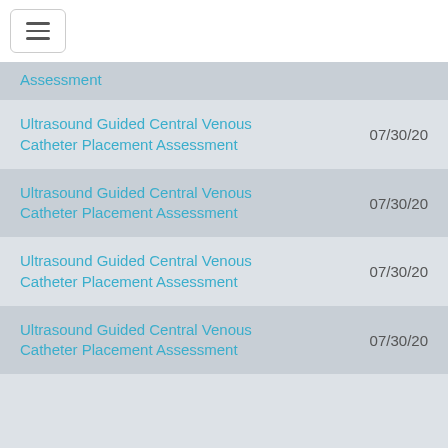Assessment — 07/30/20 (partial, top cut off)
Ultrasound Guided Central Venous Catheter Placement Assessment — 07/30/20
Ultrasound Guided Central Venous Catheter Placement Assessment — 07/30/20
Ultrasound Guided Central Venous Catheter Placement Assessment — 07/30/20
Ultrasound Guided Central Venous Catheter Placement Assessment — 07/30/20